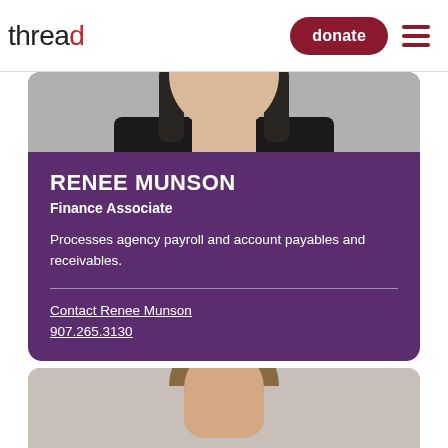thread | donate
[Figure (photo): Cropped photo of Renee Munson from shoulders up, dark hair, black top, gray background]
RENEE MUNSON
Finance Associate
Processes agency payroll and account payables and receivables.
Contact Renee Munson
907.265.3130
[Figure (photo): Partial photo of a second person from the top of head, lighter/auburn hair, gray background]